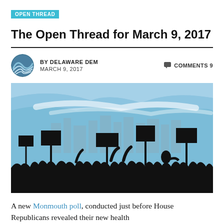OPEN THREAD
The Open Thread for March 9, 2017
BY DELAWARE DEM   COMMENTS 9
MARCH 9, 2017
[Figure (illustration): Illustration of a protest crowd silhouette holding signs and megaphones against a blue sky background]
A new Monmouth poll, conducted just before House Republicans revealed their new health...